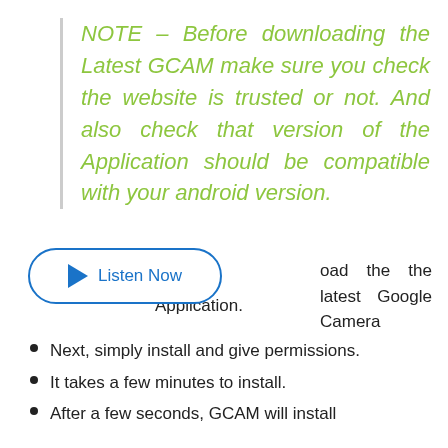NOTE – Before downloading the Latest GCAM make sure you check the website is trusted or not. And also check that version of the Application should be compatible with your android version.
[Figure (other): Listen Now audio button with play triangle icon and blue border]
oad the latest Google Camera Application.
Next, simply install and give permissions.
It takes a few minutes to install.
After a few seconds, GCAM will install